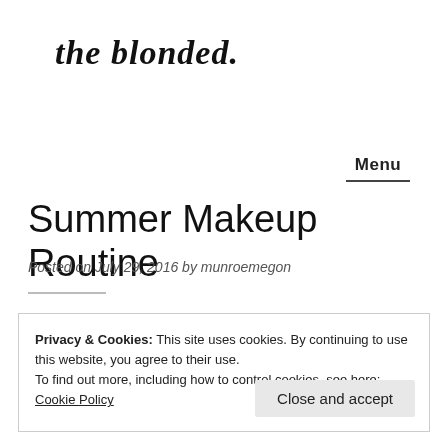the blonded.
Menu
Summer Makeup Routine
Posted on July 29, 2016 by munroemegon
Privacy & Cookies: This site uses cookies. By continuing to use this website, you agree to their use.
To find out more, including how to control cookies, see here: Cookie Policy
Close and accept